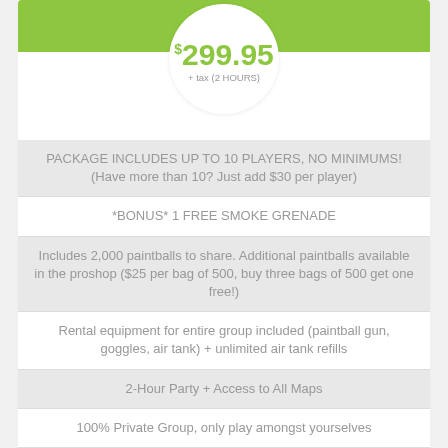$299.95 + tax (2 HOURS)
PACKAGE INCLUDES UP TO 10 PLAYERS, NO MINIMUMS! (Have more than 10? Just add $30 per player)
*BONUS* 1 FREE SMOKE GRENADE
Includes 2,000 paintballs to share. Additional paintballs available in the proshop ($25 per bag of 500, buy three bags of 500 get one free!)
Rental equipment for entire group included (paintball gun, goggles, air tank) + unlimited air tank refills
2-Hour Party + Access to All Maps
100% Private Group, only play amongst yourselves
Upgrades, Chest Protectors & other add-ons available in proshop